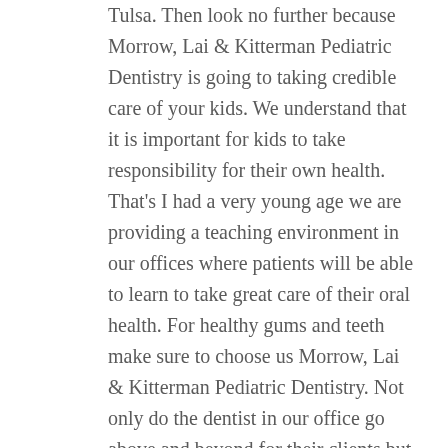Tulsa. Then look no further because Morrow, Lai & Kitterman Pediatric Dentistry is going to taking credible care of your kids. We understand that it is important for kids to take responsibility for their own health. That's I had a very young age we are providing a teaching environment in our offices where patients will be able to learn to take great care of their oral health. For healthy gums and teeth make sure to choose us Morrow, Lai & Kitterman Pediatric Dentistry. Not only do the dentist in our office go above and beyond for their clients but they continually find ways to save money for them.
The goal of our dentistry is to create happy and healthy smiles for children in a bright and fun environment. Tulsa continue to say great things that the services that are dentistry is able to provide for them. When it comes to pediatric and ours in